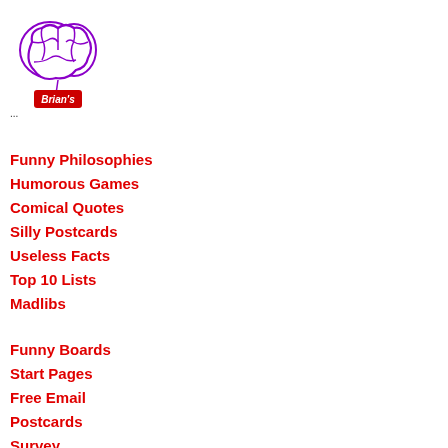[Figure (logo): Brian's brain logo: a purple cartoon brain with a red tag reading Brian's in white italic text, hanging from a string]
...
Funny Philosophies
Humorous Games
Comical Quotes
Silly Postcards
Useless Facts
Top 10 Lists
Madlibs
Funny Boards
Start Pages
Free Email
Postcards
Survey